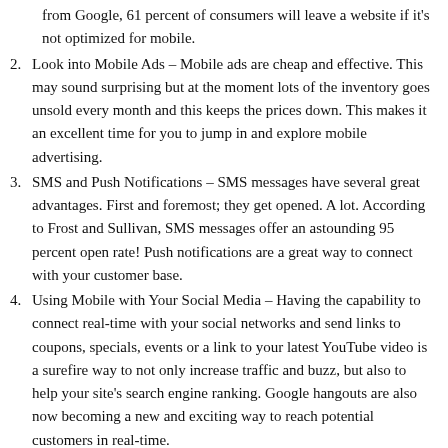from Google, 61 percent of consumers will leave a website if it's not optimized for mobile.
Look into Mobile Ads – Mobile ads are cheap and effective. This may sound surprising but at the moment lots of the inventory goes unsold every month and this keeps the prices down. This makes it an excellent time for you to jump in and explore mobile advertising.
SMS and Push Notifications – SMS messages have several great advantages. First and foremost; they get opened. A lot. According to Frost and Sullivan, SMS messages offer an astounding 95 percent open rate! Push notifications are a great way to connect with your customer base.
Using Mobile with Your Social Media – Having the capability to connect real-time with your social networks and send links to coupons, specials, events or a link to your latest YouTube video is a surefire way to not only increase traffic and buzz, but also to help your site's search engine ranking. Google hangouts are also now becoming a new and exciting way to reach potential customers in real-time.
Location Based Marketing and Passbook – Your small business needs to be found on the web. In the past, it meant Foursquare…